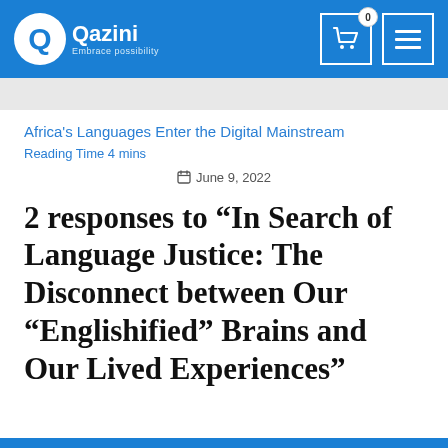Qazini — Embrace possibility
Africa's Languages Enter the Digital Mainstream
Reading Time 4 mins
June 9, 2022
2 responses to “In Search of Language Justice: The Disconnect between Our “Englishified” Brains and Our Lived Experiences”